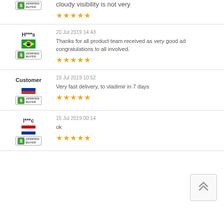cloudy visibility is not very
★★★★★
H***s
20 Jul 2019 14:43
Thanks for all product team received as very good ad congratulations to all involved.
★★★★★
Customer
19 Jul 2019 10:52
Very fast delivery, to vladimir in 7 days
★★★★★
l***c
15 Jul 2019 00:14
ok
★★★★★